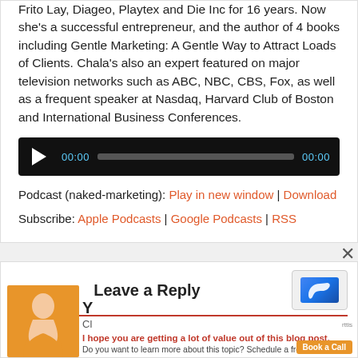Frito Lay, Diageo, Playtex and Die Inc for 16 years. Now she's a successful entrepreneur, and the author of 4 books including Gentle Marketing: A Gentle Way to Attract Loads of Clients. Chala's also an expert featured on major television networks such as ABC, NBC, CBS, Fox, as well as a frequent speaker at Nasdaq, Harvard Club of Boston and International Business Conferences.
[Figure (other): Audio player widget with play button, time display 00:00, progress bar, and end time 00:00 on dark background]
Podcast (naked-marketing): Play in new window | Download
Subscribe: Apple Podcasts | Google Podcasts | RSS
[Figure (other): Close button X]
[Figure (other): Leave a Reply section with person photo, reCAPTCHA widget, red underline divider, and advertisement overlay text]